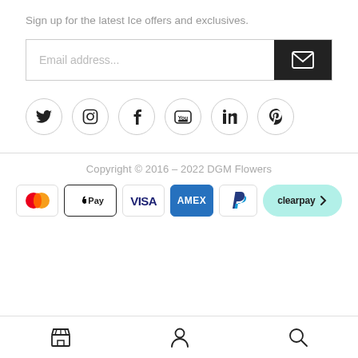Sign up for the latest Ice offers and exclusives.
[Figure (infographic): Email address input field with dark send button showing envelope icon]
[Figure (infographic): Row of six social media icon circles: Twitter, Instagram, Facebook, YouTube, LinkedIn, Pinterest]
Copyright © 2016 – 2022 DGM Flowers
[Figure (infographic): Payment method logos: Mastercard, Apple Pay, Visa, Amex, PayPal, Clearpay]
[Figure (infographic): Bottom navigation bar with store, person/account, and search icons]